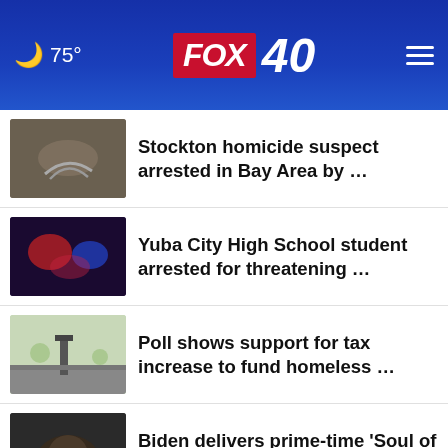75° FOX 40
Stockton homicide suspect arrested in Bay Area by …
Yuba City High School student arrested for threatening …
Poll shows support for tax increase to fund homeless …
Biden delivers prime-time ‘Soul of the Nation’ speech
National Cinema Day: Here’s the participating Sacramento-area …
Heat wave ramps up in Northern California over Labor …